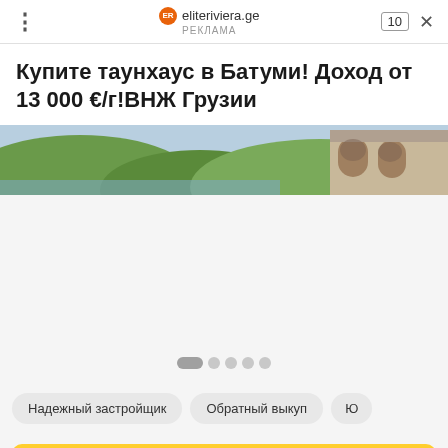eliteriviera.ge  РЕКЛАМА  10  ×
Купите таунхаус в Батуми! Доход от 13 000 €/г!ВНЖ Грузии
[Figure (photo): Landscape photo showing green hills and a building with arched architecture on the right]
Надежный застройщик  Обратный выкуп  Ю…
Подробнее ↗